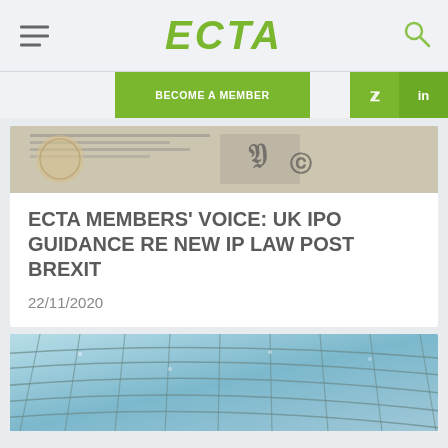ECTA
BECOME A MEMBER
[Figure (photo): Partial view of a document or newspaper with text visible at the top of first article card]
ECTA MEMBERS' VOICE: UK IPO GUIDANCE RE NEW IP LAW POST BREXIT
22/11/2020
[Figure (photo): Glass roof or atrium with blue sky visible through a grid of metal and glass panes, curved architectural structure]